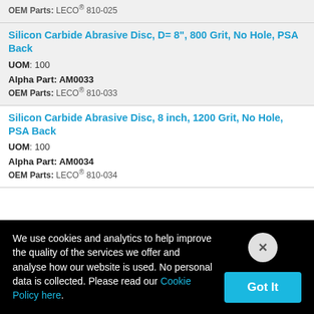OEM Parts: LECO® 810-025
Silicon Carbide Abrasive Disc, D= 8", 800 Grit, No Hole, PSA Back
UOM: 100
Alpha Part: AM0033
OEM Parts: LECO® 810-033
Silicon Carbide Abrasive Disc, 8 inch, 1200 Grit, No Hole, PSA Back
UOM: 100
Alpha Part: AM0034
OEM Parts: LECO® 810-034
We use cookies and analytics to help improve the quality of the services we offer and analyse how our website is used. No personal data is collected. Please read our Cookie Policy here.